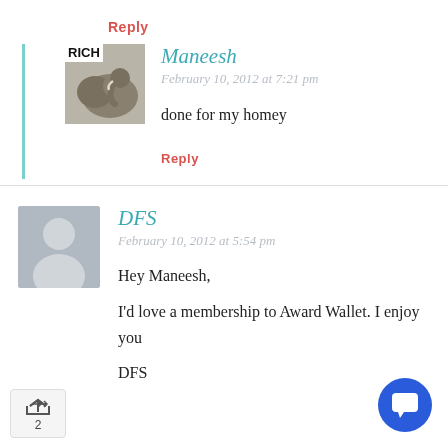Reply
Maneesh
February 10, 2012 at 7:21 pm
done for my homey
Reply
DFS
February 10, 2012 at 5:54 pm
Hey Maneesh,
I'd love a membership to Award Wallet. I enjoy you
DFS